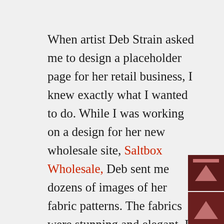When artist Deb Strain asked me to design a placeholder page for her retail business, I knew exactly what I wanted to do. While I was working on a design for her new wholesale site, Saltbox Wholesale, Deb sent me dozens of images of her fabric patterns. The fabrics were stunning and elegant. I had used one of them, a vibrant dotted red, for the background on the wholesale site, and I knew I wanted to showcase several different fabrics (in cool blues and greens) on the placeholder page. It would give visitors a good taste of Deb's designs and might entice them into wanting to come back for more once the actual
[Figure (other): Three scroll/navigation buttons on the right side: two upward arrow buttons and one downward arrow button, dark maroon background with pink/rose arrows]